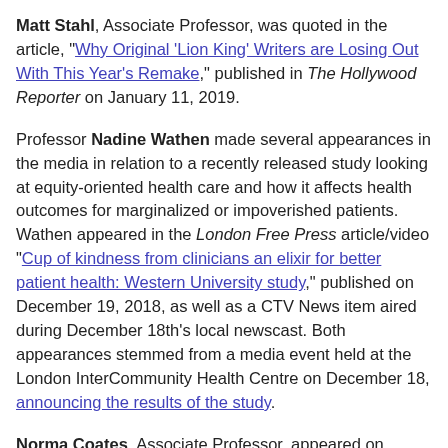Matt Stahl, Associate Professor, was quoted in the article, "Why Original 'Lion King' Writers are Losing Out With This Year's Remake," published in The Hollywood Reporter on January 11, 2019.
Professor Nadine Wathen made several appearances in the media in relation to a recently released study looking at equity-oriented health care and how it affects health outcomes for marginalized or impoverished patients. Wathen appeared in the London Free Press article/video "Cup of kindness from clinicians an elixir for better patient health: Western University study," published on December 19, 2018, as well as a CTV News item aired during December 18th's local newscast. Both appearances stemmed from a media event held at the London InterCommunity Health Centre on December 18, announcing the results of the study.
Norma Coates, Associate Professor, appeared on CBC's London Morning on December 6 in an interview clip titled, "Is...